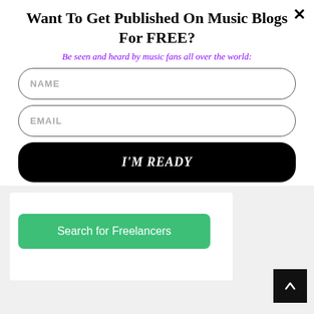Want To Get Published On Music Blogs For FREE?
Be seen and heard by music fans all over the world:
NAME
EMAIL
I'M READY
Search for Freelancers